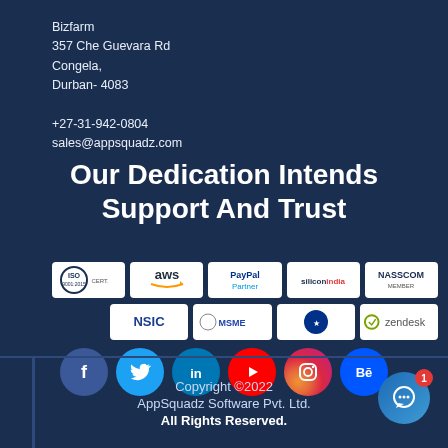Bizfarm
357 Che Guevara Rd
Congela,
Durban- 4083

+27-31-942-0804
sales@appsquadz.com
Our Dedication Intends Support And Trust
[Figure (logo): Row of certification/partner logos: ISO, aws, PayPal Partner, siliconindia, NASSCOM]
[Figure (logo): Row of logos: NSIC, MSME, certification badge, zendesk]
[Figure (infographic): Social media icon circles: Facebook, Twitter, LinkedIn, YouTube, Instagram, Behance]
Copyright ©2022
AppSquadz Software Pvt. Ltd.
All Rights Reserved.